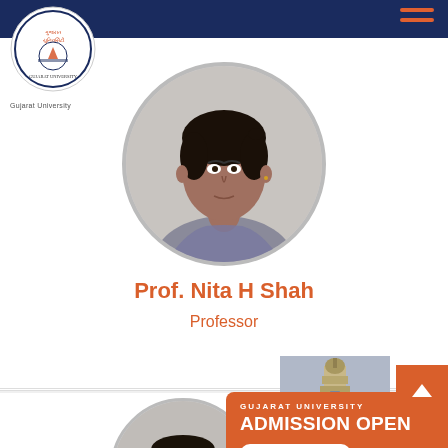Gujarat University
[Figure (logo): Gujarat University circular emblem logo]
Gujarat University
[Figure (photo): Portrait photo of Prof. Nita H Shah in circular frame]
Prof. Nita H Shah
Professor
[Figure (photo): Portrait photo of a male professor in circular frame, partially visible]
[Figure (photo): Gujarat University tower building photo]
GUJARAT UNIVERSITY
ADMISSION OPEN
MORE DETAILS